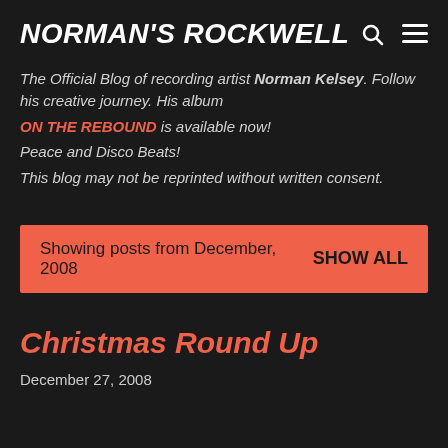NORMAN'S ROCKWELL
The Official Blog of recording artist Norman Kelsey. Follow his creative journey. His album ON THE REBOUND is available now! Peace and Disco Beats! This blog may not be reprinted without written consent.
Showing posts from December, 2008   SHOW ALL
Christmas Round Up
December 27, 2008